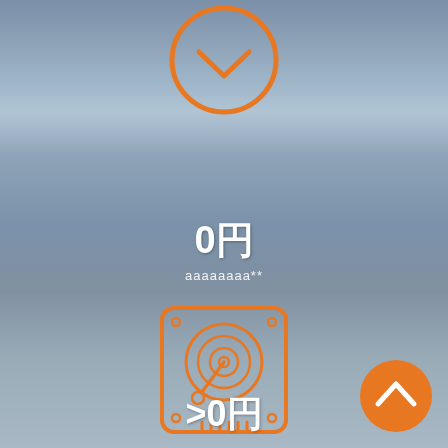[Figure (illustration): Orange circle with downward chevron/arrow icon at top center, partially cropped]
0円
aaaaaaaa**
[Figure (illustration): Orange outline icon of a hard disk drive (HDD) centered on the page]
>0円
[Figure (illustration): Orange filled circle with upward chevron arrow, bottom right corner]